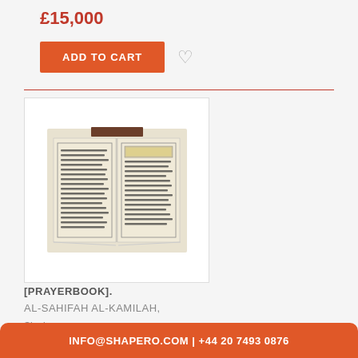£15,000
ADD TO CART
[Figure (photo): Open antique Arabic manuscript/prayerbook showing two pages with Arabic script text, framed in a ruled border, dark binding visible at top.]
[PRAYERBOOK].
AL-SAHIFAH AL-KAMILAH,
Single vo...
INFO@SHAPERO.COM | +44 20 7493 0876